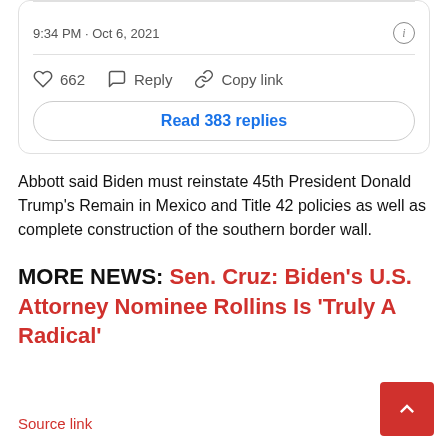[Figure (screenshot): Tweet card showing timestamp '9:34 PM · Oct 6, 2021' with info icon, a divider, action buttons (heart icon 662, Reply, Copy link), and a 'Read 383 replies' button]
Abbott said Biden must reinstate 45th President Donald Trump's Remain in Mexico and Title 42 policies as well as complete construction of the southern border wall.
MORE NEWS: Sen. Cruz: Biden's U.S. Attorney Nominee Rollins Is 'Truly A Radical'
Source link